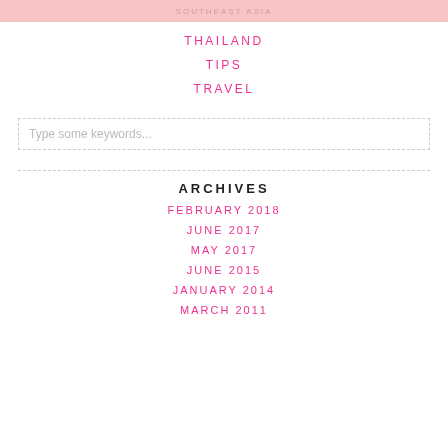SOUTHEAST ASIA
THAILAND
TIPS
TRAVEL
Type some keywords...
ARCHIVES
FEBRUARY 2018
JUNE 2017
MAY 2017
JUNE 2015
JANUARY 2014
MARCH 2011